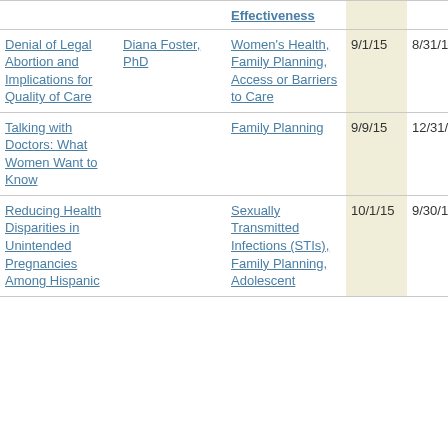| Project Title | Principal Investigator | Research Area/Topic Category | Start Date | End Date |
| --- | --- | --- | --- | --- |
| Denial of Legal Abortion and Implications for Quality of Care | Diana Foster, PhD | Women's Health, Family Planning, Access or Barriers to Care | 9/1/15 | 8/31/19 |
| Talking with Doctors: What Women Want to Know |  | Family Planning | 9/9/15 | 12/31/16 |
| Reducing Health Disparities in Unintended Pregnancies Among Hispanic... |  | Sexually Transmitted Infections (STIs), Family Planning, Adolescent... | 10/1/15 | 9/30/17 |